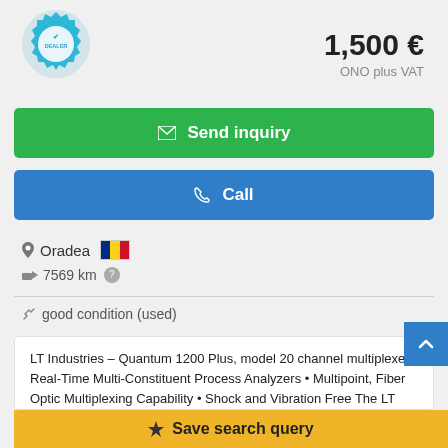[Figure (logo): Dealer badge/seal icon in blue with gear shape and checkmark]
1,500 €
ONO plus VAT
✉ Send inquiry
✆ Call
Oradea 🇷🇴
7569 km ?
good condition (used)
LT Industries – Quantum 1200 Plus, model 20 channel multiplexer • Real-Time Multi-Constituent Process Analyzers • Multipoint, Fiber Optic Multiplexing Capability • Shock and Vibration Free The LT Industries Quantum 1200 Process Analyzer Series is comprised of the rugged, rapid scanning Quantum 2...ere
Save search query